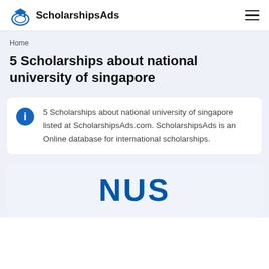ScholarshipsAds
Home
5 Scholarships about national university of singapore
5 Scholarships about national university of singapore listed at ScholarshipsAds.com. ScholarshipsAds is an Online database for international scholarships.
[Figure (logo): NUS logo text in blue bold letters]